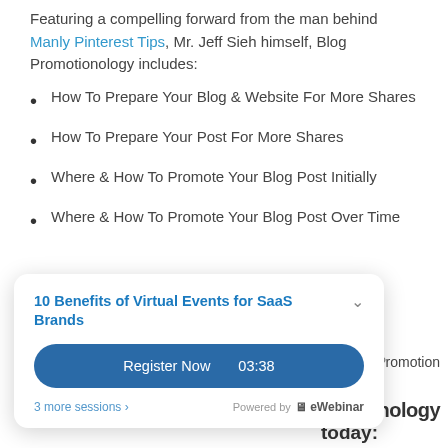Featuring a compelling forward from the man behind Manly Pinterest Tips, Mr. Jeff Sieh himself, Blog Promotionology includes:
How To Prepare Your Blog & Website For More Shares
How To Prepare Your Post For More Shares
Where & How To Promote Your Blog Post Initially
Where & How To Promote Your Blog Post Over Time
...Blog Promotion
[Figure (screenshot): Popup card overlay: '10 Benefits of Virtual Events for SaaS Brands' with a blue 'Register Now 03:38' button, '3 more sessions >' link, and 'Powered by eWebinar' footer]
onology
today: